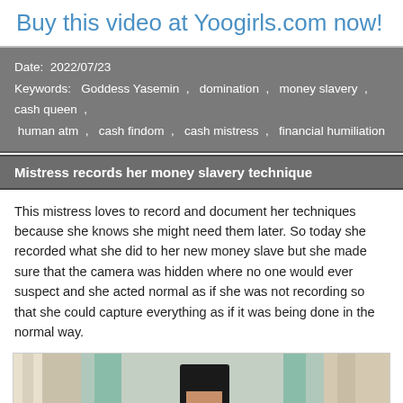Buy this video at Yoogirls.com now!
Date: 2022/07/23
Keywords: Goddess Yasemin , domination , money slavery , cash queen , human atm , cash findom , cash mistress , financial humiliation
Mistress records her money slavery technique
This mistress loves to record and document her techniques because she knows she might need them later. So today she recorded what she did to her new money slave but she made sure that the camera was hidden where no one would ever suspect and she acted normal as if she was not recording so that she could capture everything as if it was being done in the normal way.
[Figure (photo): A woman in black lingerie standing in a room with curtains and a plant in the foreground.]